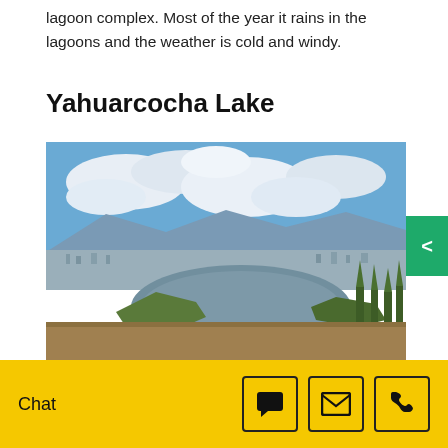lagoon complex. Most of the year it rains in the lagoons and the weather is cold and windy.
Yahuarcocha Lake
[Figure (photo): Aerial view of Yahuarcocha Lake with paragliding equipment in foreground on a hilltop, city and lake visible below, mountains and clouds in background.]
Chat